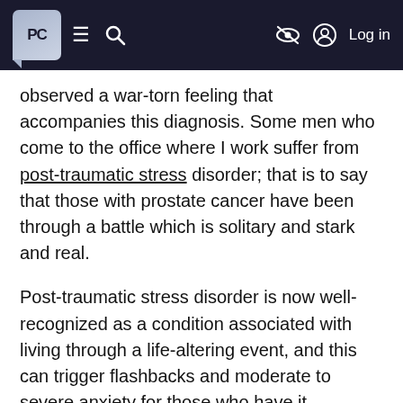PC [logo] ≡ 🔍 [no-sign] Log in
observed a war-torn feeling that accompanies this diagnosis. Some men who come to the office where I work suffer from post-traumatic stress disorder; that is to say that those with prostate cancer have been through a battle which is solitary and stark and real.
Post-traumatic stress disorder is now well-recognized as a condition associated with living through a life-altering event, and this can trigger flashbacks and moderate to severe anxiety for those who have it. Prostate cancer would certainly fall into the